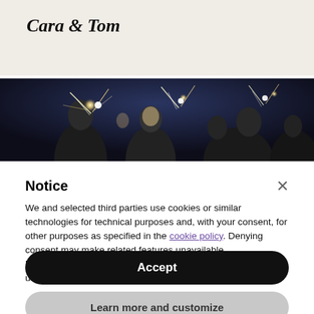Cara & Tom
[Figure (photo): Dark evening photo of a crowd of people holding sparklers outdoors, with bright sparkler lights illuminating faces against a dark blue sky.]
Notice
We and selected third parties use cookies or similar technologies for technical purposes and, with your consent, for other purposes as specified in the cookie policy. Denying consent may make related features unavailable.
Use the “Accept” button or close this notice to consent to the use of such technologies.
Accept
Learn more and customize